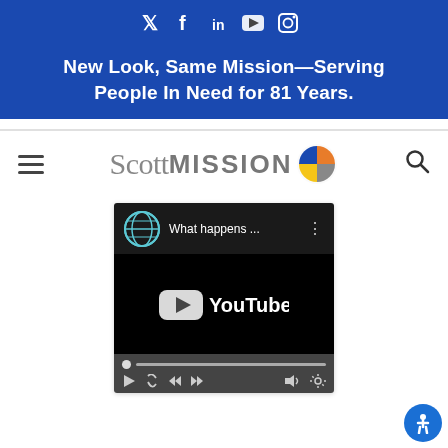Social media icons: Twitter, Facebook, LinkedIn, YouTube, Instagram
New Look, Same Mission—Serving People In Need for 81 Years.
[Figure (logo): Scott Mission logo with colorful pinwheel icon]
[Figure (screenshot): YouTube video embed showing 'What happens ...' with video controls bar]